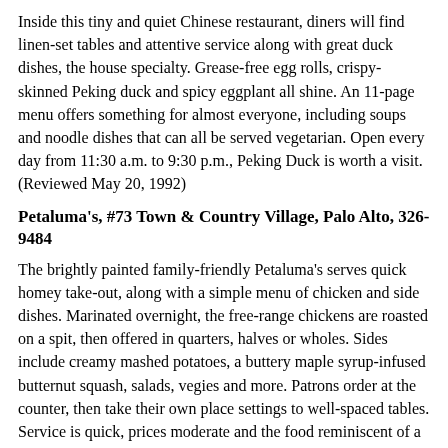Inside this tiny and quiet Chinese restaurant, diners will find linen-set tables and attentive service along with great duck dishes, the house specialty. Grease-free egg rolls, crispy-skinned Peking duck and spicy eggplant all shine. An 11-page menu offers something for almost everyone, including soups and noodle dishes that can all be served vegetarian. Open every day from 11:30 a.m. to 9:30 p.m., Peking Duck is worth a visit. (Reviewed May 20, 1992)
Petaluma's, #73 Town & Country Village, Palo Alto, 326-9484
The brightly painted family-friendly Petaluma's serves quick homey take-out, along with a simple menu of chicken and side dishes. Marinated overnight, the free-range chickens are roasted on a spit, then offered in quarters, halves or wholes. Sides include creamy mashed potatoes, a buttery maple syrup-infused butternut squash, salads, vegies and more. Patrons order at the counter, then take their own place settings to well-spaced tables. Service is quick, prices moderate and the food reminiscent of a visit to mom's house. Hours are 11 a.m. to 9 p.m. daily. (Reviewed Jan. 27, 1992)
Pho To Chau, 853 Villa St., Mountain View, 961-8069
At Pho To Chau in Mountain View, diners can choose from among 17 entrees and still only get one thing: soup. This is a place for the food-minded, more specifically for the soup-minded. Because